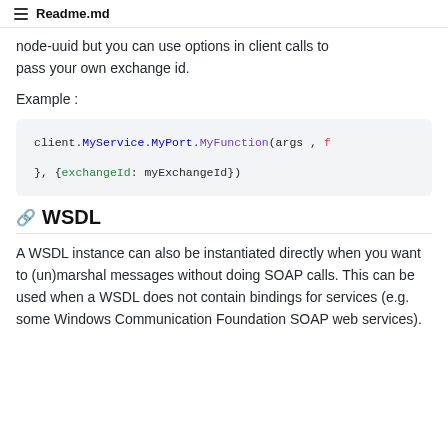Readme.md
node-uuid but you can use options in client calls to pass your own exchange id.
Example :
[Figure (screenshot): Code block showing: client.MyService.MyPort.MyFunction(args , f
}, {exchangeId: myExchangeId})]
WSDL
A WSDL instance can also be instantiated directly when you want to (un)marshal messages without doing SOAP calls. This can be used when a WSDL does not contain bindings for services (e.g. some Windows Communication Foundation SOAP web services).